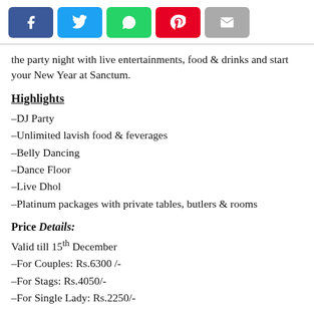[Figure (other): Social sharing buttons: Facebook (blue), Twitter (cyan), WhatsApp (green), Pinterest (red), Email (gray)]
the party night with live entertainments, food & drinks and start your New Year at Sanctum.
Highlights
–DJ Party
–Unlimited lavish food & feverages
–Belly Dancing
–Dance Floor
–Live Dhol
–Platinum packages with private tables, butlers & rooms
Price Details:
Valid till 15th December
–For Couples: Rs.6300 /-
–For Stags: Rs.4050/-
–For Single Lady: Rs.2250/-